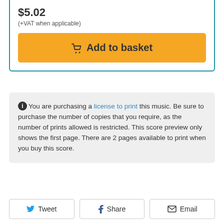$5.02
(+VAT when applicable)
Add to basket
You are purchasing a license to print this music. Be sure to purchase the number of copies that you require, as the number of prints allowed is restricted. This score preview only shows the first page. There are 2 pages available to print when you buy this score.
Tweet
Share
Email